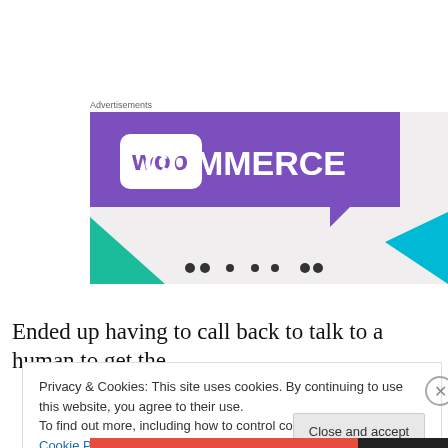Advertisements
[Figure (logo): WooCommerce advertisement banner with purple background showing WooCommerce logo, teal triangle bottom-left, cyan triangle bottom-right, navigation dots at bottom]
Ended up having to call back to talk to a human to get the
Privacy & Cookies: This site uses cookies. By continuing to use this website, you agree to their use.
To find out more, including how to control cookies, see here: Cookie Policy
Close and accept